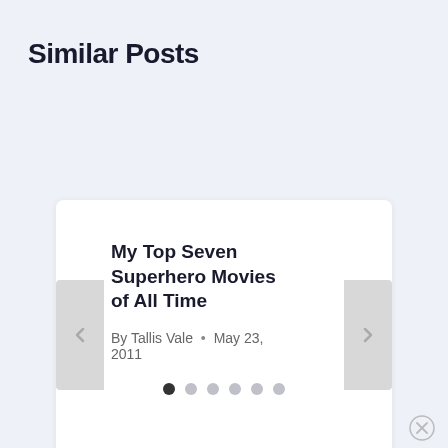Similar Posts
My Top Seven Superhero Movies of All Time
By Tallis Vale • May 23, 2011
[Figure (screenshot): A carousel/slider UI component showing a blog post card titled 'My Top Seven Superhero Movies of All Time' by Tallis Vale on May 23, 2011, with left/right navigation arrows and six pagination dots below.]